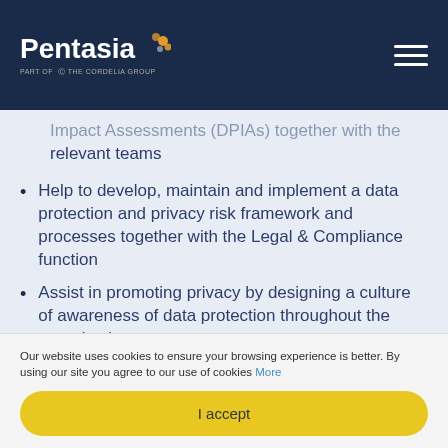Pentasia
Impact Assessments (DPIAs) together with the relevant teams
Help to develop, maintain and implement a data protection and privacy risk framework and processes together with the Legal & Compliance function
Assist in promoting privacy by designing a culture of awareness of data protection throughout the organization
Work with the legal & compliance team on various
Our website uses cookies to ensure your browsing experience is better. By using our site you agree to our use of cookies More
I accept